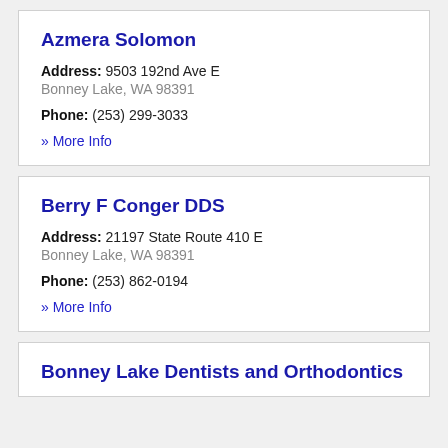Azmera Solomon
Address: 9503 192nd Ave E
Bonney Lake, WA 98391
Phone: (253) 299-3033
» More Info
Berry F Conger DDS
Address: 21197 State Route 410 E
Bonney Lake, WA 98391
Phone: (253) 862-0194
» More Info
Bonney Lake Dentists and Orthodontics